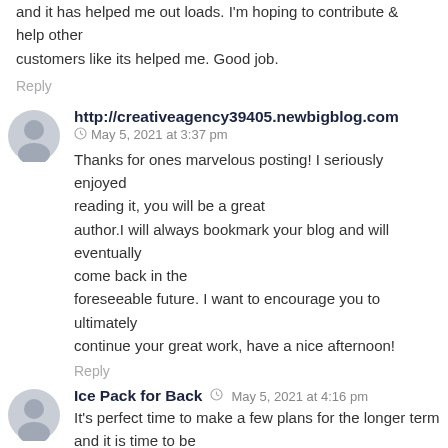and it has helped me out loads. I'm hoping to contribute & help other customers like its helped me. Good job.
Reply
http://creativeagency39405.newbigblog.com
May 5, 2021 at 3:37 pm
Thanks for ones marvelous posting! I seriously enjoyed reading it, you will be a great author.I will always bookmark your blog and will eventually come back in the foreseeable future. I want to encourage you to ultimately continue your great work, have a nice afternoon!
Reply
Ice Pack for Back
May 5, 2021 at 4:16 pm
It's perfect time to make a few plans for the longer term and it is time to be happy. I've learn this post and if I could I want to suggest you few fascinating things or advice. Perhaps you could write next articles regarding this article.